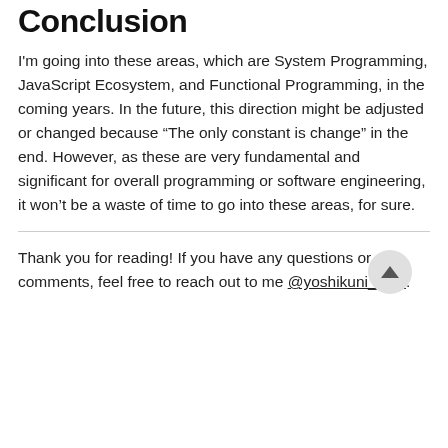Conclusion
I'm going into these areas, which are System Programming, JavaScript Ecosystem, and Functional Programming, in the coming years. In the future, this direction might be adjusted or changed because “The only constant is change” in the end. However, as these are very fundamental and significant for overall programming or software engineering, it won’t be a waste of time to go into these areas, for sure.
Thank you for reading! If you have any questions or comments, feel free to reach out to me @yoshikuni_kato.